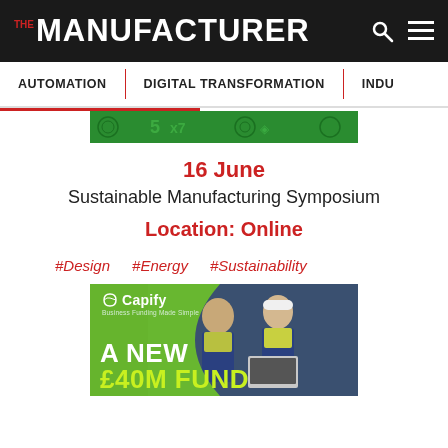THE MANUFACTURER
AUTOMATION | DIGITAL TRANSFORMATION | INDU
[Figure (illustration): Green decorative banner strip with patterns]
16 June
Sustainable Manufacturing Symposium
Location: Online
#Design   #Energy   #Sustainability
[Figure (photo): Capify advertisement showing two manufacturing workers in hi-vis jackets and hard hats looking at a laptop, with text: Capify, Business Funding Made Simple, A NEW £40M FUND]